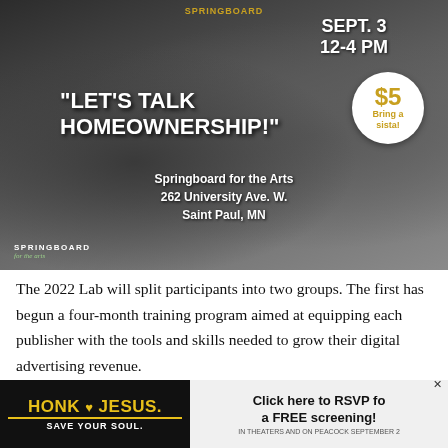[Figure (photo): Event promotional image showing two people shaking hands (homeownership event). Text overlay reads: SEPT. 3 / 12-4 PM / "LET'S TALK HOMEOWNERSHIP!" / Springboard for the Arts / 262 University Ave. W. / Saint Paul, MN. A white circular badge with gold text: $5 / Bring a sista! Springboard for the Arts logo at bottom left.]
The 2022 Lab will split participants into two groups. The first has begun a four-month training program aimed at equipping each publisher with the tools and skills needed to grow their digital advertising revenue.
The second group has begun to receive hands-on support to strengthen their digital advertising technology before
[Figure (photo): Advertisement banner for 'HONK FOR JESUS. SAVE YOUR SOUL.' movie. Left side: yellow text on black background. Right side: light background with text 'Click here to RSVP for a FREE screening! IN THEATERS AND ON PEACOCK SEPTEMBER 2']